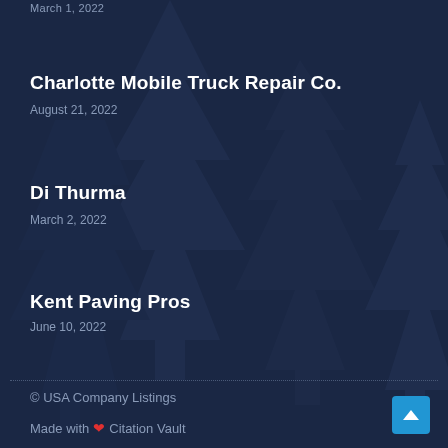March 1, 2022
Charlotte Mobile Truck Repair Co.
August 21, 2022
Di Thurma
March 2, 2022
Kent Paving Pros
June 10, 2022
© USA Company Listings
Made with ❤ Citation Vault